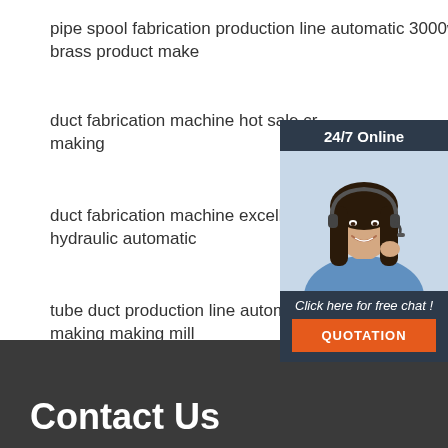pipe spool fabrication production line automatic 3000w brass product make
duct fabrication machine hot sale cr... making
duct fabrication machine excellent c... hydraulic automatic
tube duct production line automatic ... making making mill
tube welding machine wholesale pri... aluminum profile making
[Figure (illustration): Customer service chat widget with '24/7 Online' header, photo of smiling woman with headset, 'Click here for free chat!' text, and orange QUOTATION button]
Contact Us